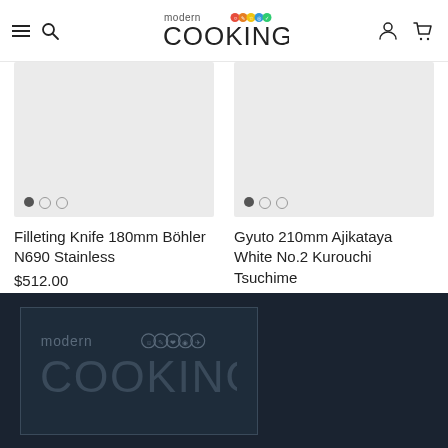modern COOKING — navigation header with hamburger menu, search, account, and cart icons
[Figure (photo): Product image placeholder (light gray) for Filleting Knife 180mm Böhler N690 Stainless with carousel dots]
Filleting Knife 180mm Böhler N690 Stainless
$512.00
[Figure (photo): Product image placeholder (light gray) for Gyuto 210mm Ajikataya White No.2 Kurouchi Tsuchime with carousel dots]
Gyuto 210mm Ajikataya White No.2 Kurouchi Tsuchime
$272.00
modern COOKING logo in dark footer